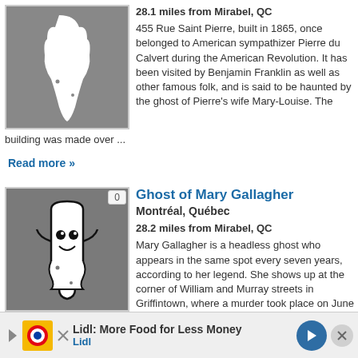[Figure (illustration): Ghost/map icon in grey square thumbnail for a haunted location listing]
28.1 miles from Mirabel, QC
455 Rue Saint Pierre, built in 1865, once belonged to American sympathizer Pierre du Calvert during the American Revolution. It has been visited by Benjamin Franklin as well as other famous folk, and is said to be haunted by the ghost of Pierre's wife Mary-Louise. The building was made over ...
Read more »
[Figure (illustration): Ghost cartoon icon (white ghost with smile) in grey square thumbnail, badge showing 0]
Ghost of Mary Gallagher
Montréal, Québec
28.2 miles from Mirabel, QC
Mary Gallagher is a headless ghost who appears in the same spot every seven years, according to her legend. She shows up at the corner of William and Murray streets in Griffintown, where a murder took place on June 27, 1879. Mary Gallagher was a
prostitu...
Read m...
Lidl: More Food for Less Money
Lidl